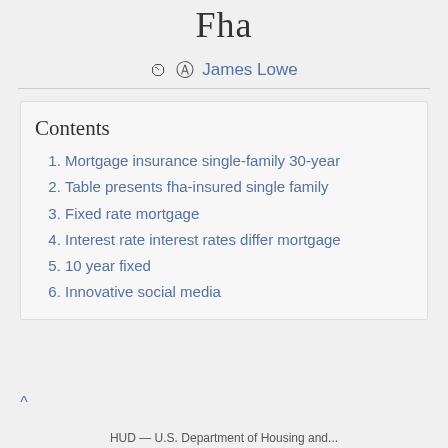Fha
James Lowe
Contents
Mortgage insurance single-family 30-year
Table presents fha-insured single family
Fixed rate mortgage
Interest rate interest rates differ mortgage
10 year fixed
Innovative social media
HUD — U.S. Department of Housing and...